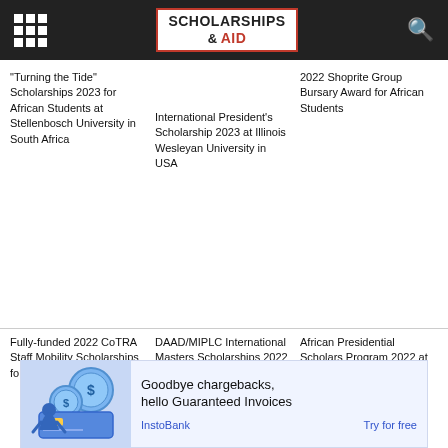SCHOLARSHIPS & AID
“Turning the Tide” Scholarships 2023 for African Students at Stellenbosch University in South Africa
International President’s Scholarship 2023 at Illinois Wesleyan University in USA
2022 Shoprite Group Bursary Award for African Students
Fully-funded 2022 CoTRA Staff Mobility Scholarships for African Students
DAAD/MIPLC International Masters Scholarships 2022 for Developing Countries in Germany
African Presidential Scholars Program 2022 at University of Michigan in USA
[Figure (infographic): Advertisement banner with illustration of person with dollar coins and credit card. Text: Goodbye chargebacks, hello Guaranteed Invoices. InstoBank. Try for free.]